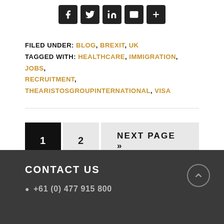[Figure (other): Social share icons: Facebook, Twitter, LinkedIn, Email, More (plus)]
FILED UNDER: BLOG, BREXIT, UK
TAGGED WITH: HEALTHCARE, IMMIGRATION, JOBS, RECRUITMENT, THEARISTOSGROUPINTERNATIONAL, VISA
1  2  NEXT PAGE »
CONTACT US
+61 (0) 477 915 800